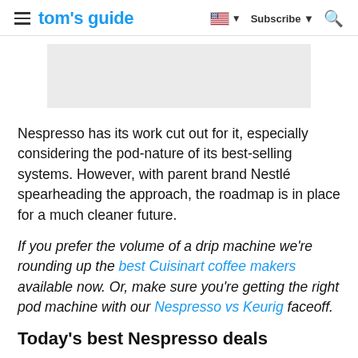tom's guide | Subscribe | Search
[Figure (other): Gray advertisement placeholder rectangle]
Nespresso has its work cut out for it, especially considering the pod-nature of its best-selling systems. However, with parent brand Nestlé spearheading the approach, the roadmap is in place for a much cleaner future.
If you prefer the volume of a drip machine we're rounding up the best Cuisinart coffee makers available now. Or, make sure you're getting the right pod machine with our Nespresso vs Keurig faceoff.
Today's best Nespresso deals